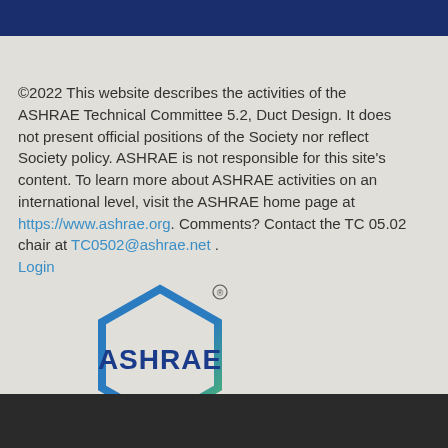©2022 This website describes the activities of the ASHRAE Technical Committee 5.2, Duct Design. It does not present official positions of the Society nor reflect Society policy. ASHRAE is not responsible for this site's content. To learn more about ASHRAE activities on an international level, visit the ASHRAE home page at https://www.ashrae.org. Comments? Contact the TC 05.02 chair at TC0502@ashrae.net . Login
[Figure (logo): ASHRAE hexagonal logo with blue and green gradient border and bold blue ASHRAE text inside, with registered trademark symbol]